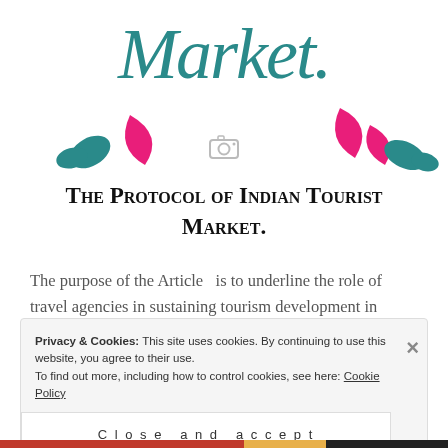[Figure (illustration): Decorative header with script text 'Market.' in teal cursive font, pink and teal leaf/petal shapes on either side, and a camera icon below]
The Protocol of Indian Tourist Market.
The purpose of the Article  is to underline the role of travel agencies in sustaining tourism development in India. The main objective of the article is to investigate the customer
Privacy & Cookies: This site uses cookies. By continuing to use this website, you agree to their use.
To find out more, including how to control cookies, see here: Cookie Policy
Close and accept